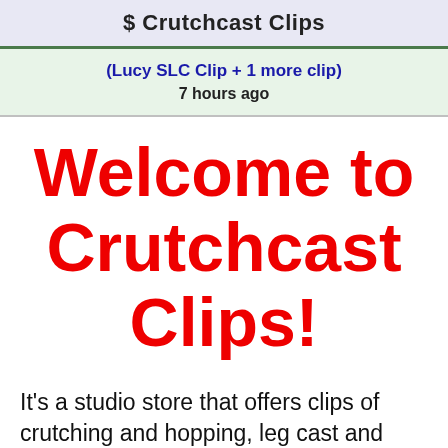$ Crutchcast Clips
(Lucy SLC Clip + 1 more clip)
7 hours ago
Welcome to Crutchcast Clips!
It's a studio store that offers clips of crutching and hopping, leg cast and